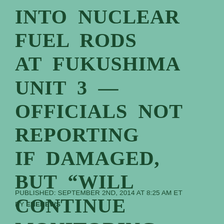INTO NUCLEAR FUEL RODS AT FUKUSHIMA UNIT 3 — OFFICIALS NOT REPORTING IF DAMAGED, BUT “WILL CONTINUE MONITORING REGULARLY” — COOLING IN POOL INTERRUPTED
PUBLISHED: SEPTEMBER 2ND, 2014 AT 8:25 AM ET
BY ENENEWS